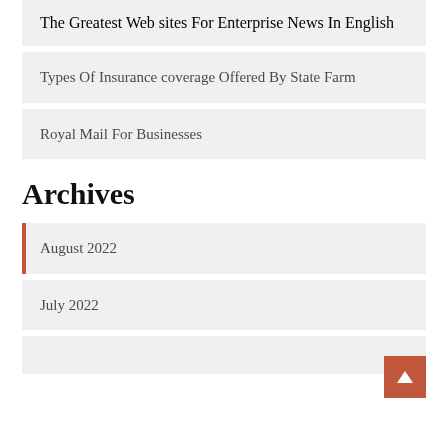The Greatest Web sites For Enterprise News In English
Types Of Insurance coverage Offered By State Farm
Royal Mail For Businesses
Archives
August 2022
July 2022